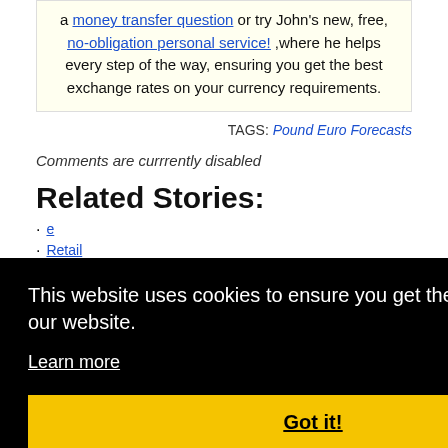a money transfer question or try John's new, free, no-obligation personal service! ,where he helps every step of the way, ensuring you get the best exchange rates on your currency requirements.
TAGS: Pound Euro Forecasts
Comments are currrently disabled
Related Stories:
This website uses cookies to ensure you get the best experience on our website.
Learn more
Got it!
Pound Euro Exchange Rate Falls as UK Economy Contracts in...